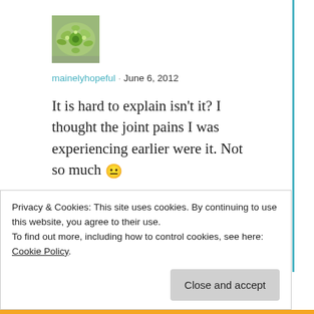[Figure (photo): Small square avatar image showing green flowers/succulent arrangement on a grey surface]
mainelyhopeful · June 6, 2012
It is hard to explain isn't it? I thought the joint pains I was experiencing earlier were it. Not so much 😐
★ Like
Log in to Reply
Privacy & Cookies: This site uses cookies. By continuing to use this website, you agree to their use.
To find out more, including how to control cookies, see here: Cookie Policy